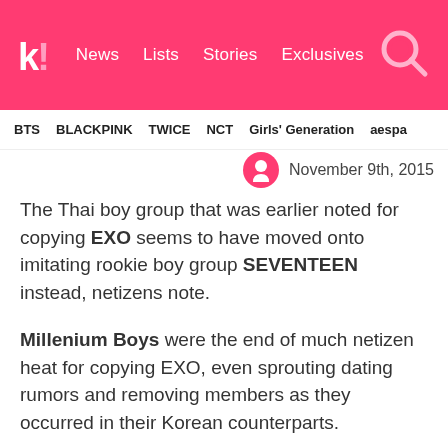koreaboo! News  Lists  Stories  Exclusives
BTS  BLACKPINK  TWICE  NCT  Girls' Generation  aespa
November 9th, 2015
The Thai boy group that was earlier noted for copying EXO seems to have moved onto imitating rookie boy group SEVENTEEN instead, netizens note.
Millenium Boys were the end of much netizen heat for copying EXO, even sprouting dating rumors and removing members as they occurred in their Korean counterparts.
Now, netizens have noted that the boy group seems to have changed its target to